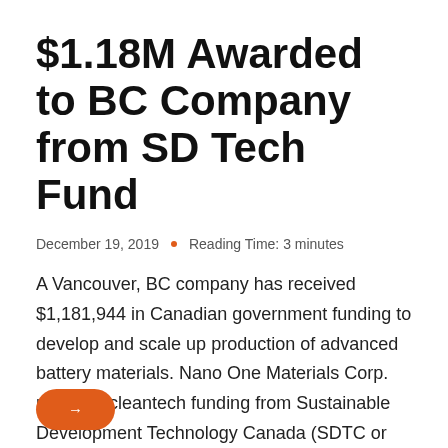$1.18M Awarded to BC Company from SD Tech Fund
December 19, 2019  •  Reading Time: 3 minutes
A Vancouver, BC company has received $1,181,944 in Canadian government funding to develop and scale up production of advanced battery materials. Nano One Materials Corp. received cleantech funding from Sustainable Development Technology Canada (SDTC or SD Tech), for a project that will provide battery technology for electric vehicles and renewable energy storage. This recent installment…